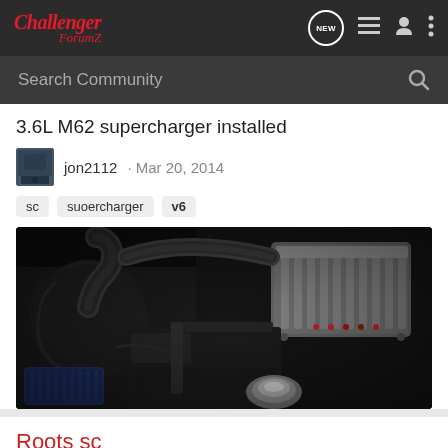Challenger ForumZ — Navigation bar with NEW, list, user, and menu icons
Search Community
3.6L M62 supercharger installed
jon2112 · Mar 20, 2014
sc
suoercharger
v6
[Figure (photo): Engine bay photo showing an M62 supercharger installed on a 3.6L V6 engine, with intake pipes, supercharger unit visible in upper right, and blue air filter at bottom left]
Roots sc